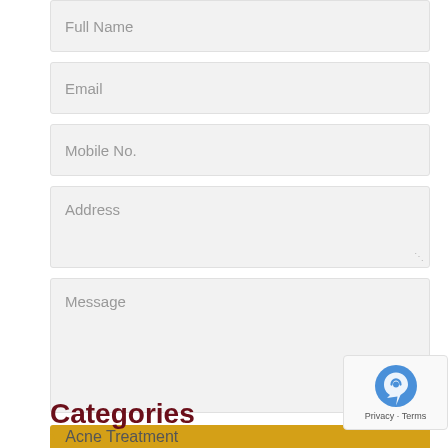Full Name
Email
Mobile No.
Address
Message
SUBMIT
Categories
Acne Treatment